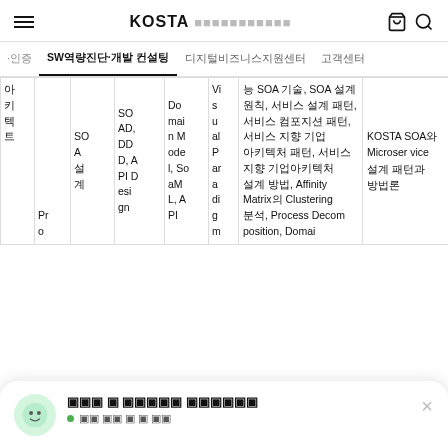KOSTA [Korean text]
내일인증 SW역량진단·개발 컨설팅 디지털비즈니스지원센터 고객센터
| 아키텍트 | Pro | SOA 설계 | SOAD, DDD, APIDesign | Domain Model, SoaML, API | Visual Parading m | SOA 기술 내용... | KOSTA SOA와 Microservice 설계 패턴과 방법론 |
| --- | --- | --- | --- | --- | --- | --- | --- |
| 아키텍트 | Pr o | SO A 설계 | SO AD, DD D, A PI D esi gn | Do mai n M ode l, So aM L, A PI | Vi s u al P ar a di g m | 능 SOA 기술, SOA 설계 원칙, 서비스 설계 패턴, 서비스 컴포지션 패턴, 서비스 지향 기업 아키텍처 패턴, 서비스 지향 기업아키텍처 설계 방법, Affinity Matrix의 Clustering 분석, Process Decomposition, Domai | KOSTA SOA와 Microservice 설계 패턴과 방법론 |
콘텐츠 및 서비스에 대해 궁금하신가요?
● 상담 가능 중 입니다